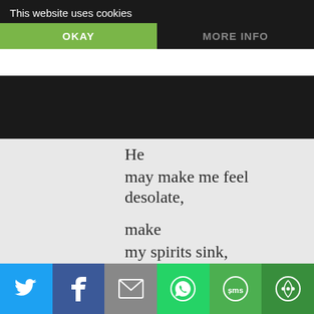This website uses cookies
nong strangers,
He
may make me feel desolate,
make
my spirits sink,
hide
the future from me—
still
He knows what He is about.